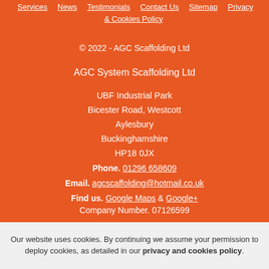Services | News | Testimonials | Contact Us | Sitemap | Privacy & Cookies Policy
© 2022 - AGC Scaffolding Ltd
AGC System Scaffolding Ltd
UBF Industrial Park
Bicester Road, Westcott
Aylesbury
Buckinghamshire
HP18 0JX
Phone. 01296 658609
Email. agcscaffolding@hotmail.co.uk
Find us. Google Maps & Google+
Company Number. 07126599
[Figure (logo): Facebook icon and Like button showing 151 likes]
Our website uses cookies. By continuing we assume your permission to deploy cookies, as detailed in our privacy and cookies policy.